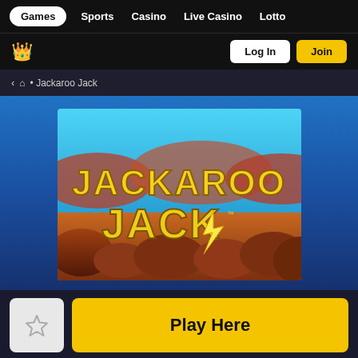Games | Sports | Casino | Live Casino | Lotto
Log In | Join
< Home • Jackaroo Jack
[Figure (screenshot): Jackaroo Jack slot game logo image with Australian outback desert background. Text reads JACKAROO JACK with a lightning bolt symbol in gold letters.]
Play Here
GAMES | SEARCH | ALL GAMES | RECOMMENDED | MORE